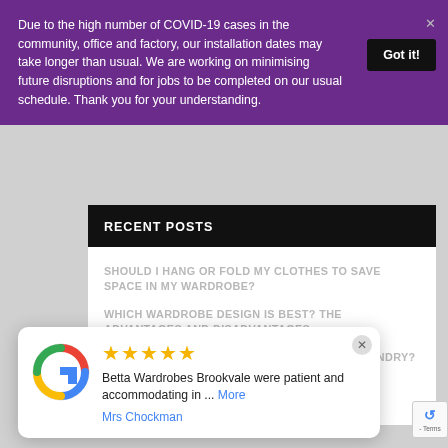Due to the high number of COVID-19 cases in the community, office and factory, our installation dates may take longer than usual. We are working on minimising future disruptions and for jobs to be completed on our usual schedule. Thank you for your understanding.
RECENT POSTS
SHOULD I HANG OR FOLD MY CLOTHES TO SAVE SPACE IN MY WARDROBE?
WHICH WARDROBE DESIGN IS BEST? THE ADVANTAGES AND DISADVANTAGES
WHAT IS THE FASTEST WAY TO FOLD YOUR LAUNDRY?
Betta Wardrobes Brookvale were patient and accommodating in ... More — Mrs Chockman